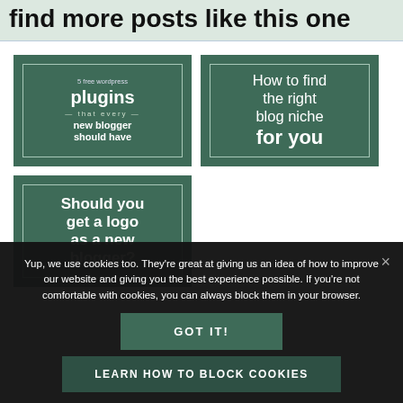find more posts like this one
[Figure (illustration): Blog post thumbnail: 5 free wordpress plugins that every new blogger should have, dark green background with white text]
[Figure (illustration): Blog post thumbnail: How to find the right blog niche for you, dark green background with white text]
[Figure (illustration): Blog post thumbnail: Should you get a logo as a new blogger?, dark green background with white text]
Yup, we use cookies too. They're great at giving us an idea of how to improve our website and giving you the best experience possible. If you're not comfortable with cookies, you can always block them in your browser.
GOT IT!
LEARN HOW TO BLOCK COOKIES